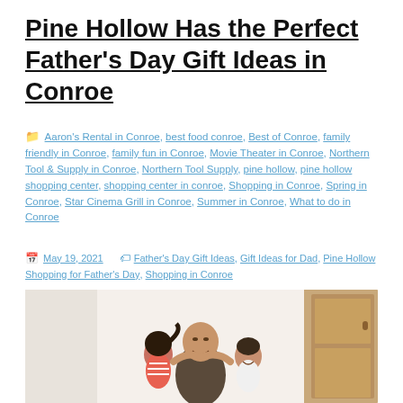Pine Hollow Has the Perfect Father's Day Gift Ideas in Conroe
Aaron's Rental in Conroe, best food conroe, Best of Conroe, family friendly in Conroe, family fun in Conroe, Movie Theater in Conroe, Northern Tool & Supply in Conroe, Northern Tool Supply, pine hollow, pine hollow shopping center, shopping center in conroe, Shopping in Conroe, Spring in Conroe, Star Cinema Grill in Conroe, Summer in Conroe, What to do in Conroe
May 19, 2021 — Father's Day Gift Ideas, Gift Ideas for Dad, Pine Hollow, Shopping for Father's Day, Shopping in Conroe
[Figure (photo): A father with two young children, a girl and a boy, appearing to hug and play together indoors. The photo shows a warm family scene.]